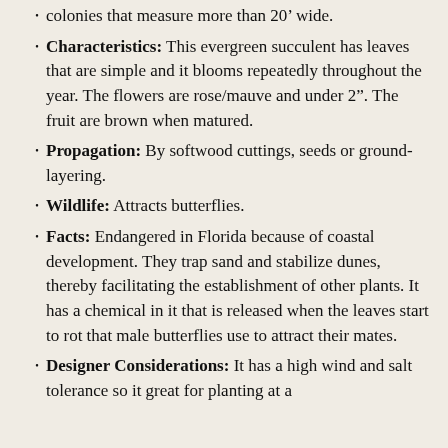colonies that measure more than 20’ wide.
Characteristics: This evergreen succulent has leaves that are simple and it blooms repeatedly throughout the year. The flowers are rose/mauve and under 2”. The fruit are brown when matured.
Propagation: By softwood cuttings, seeds or ground-layering.
Wildlife: Attracts butterflies.
Facts: Endangered in Florida because of coastal development. They trap sand and stabilize dunes, thereby facilitating the establishment of other plants. It has a chemical in it that is released when the leaves start to rot that male butterflies use to attract their mates.
Designer Considerations: It has a high wind and salt tolerance so it great for planting at a